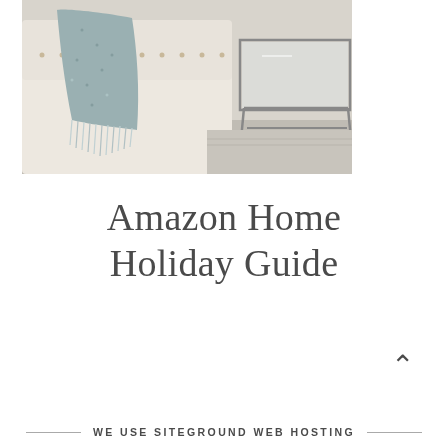[Figure (photo): A living room scene showing a cozy upholstered sofa/chair with a blue-grey knit throw blanket draped over it with fringe, and a glass/metal side table on a textured area rug in the background.]
Amazon Home Holiday Guide
^
WE USE SITEGROUND WEB HOSTING